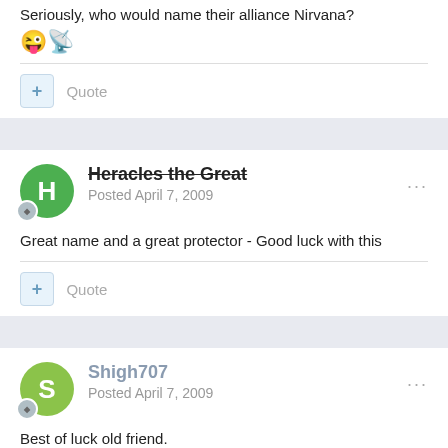Seriously, who would name their alliance Nirvana?
[Figure (illustration): Pac-man eating emoji]
Quote
Heracles the Great
Posted April 7, 2009
Great name and a great protector - Good luck with this
Quote
Shigh707
Posted April 7, 2009
Best of luck old friend.